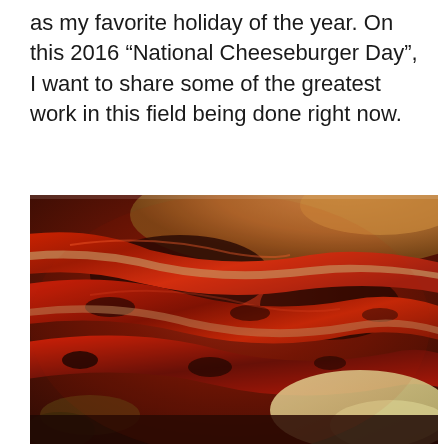as my favorite holiday of the year. On this 2016 “National Cheeseburger Day”, I want to share some of the greatest work in this field being done right now.
[Figure (photo): Close-up macro photograph of a cheeseburger with bacon strips, melted cheese, and a bun, showing rich red and brown tones of crispy bacon layered over the burger.]